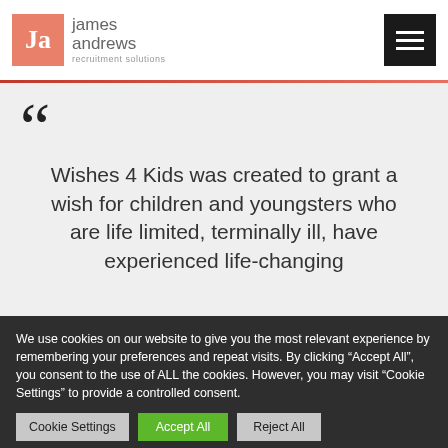[Figure (logo): James Andrews Recruitment Solutions logo with salmon/orange square containing 'Ja' and text to the right]
Wishes 4 Kids was created to grant a wish for children and youngsters who are life limited, terminally ill, have experienced life-changing
We use cookies on our website to give you the most relevant experience by remembering your preferences and repeat visits. By clicking “Accept All”, you consent to the use of ALL the cookies. However, you may visit “Cookie Settings” to provide a controlled consent.
Cookie Settings | Accept All | Reject All